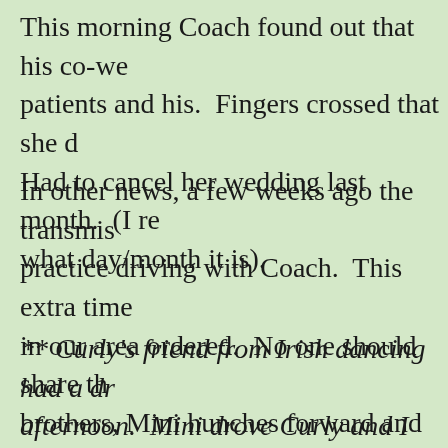This morning Coach found out that his co-we patients and his. Fingers crossed that she d Had to cancel her wedding last month. (I re what day/month it is).
In other news, a few weeks ago the transmis practice driving with Coach. This extra time in our area ordered. No one should share th brothers, Mini hunches forward and rotates a 2 inch back and forth frenzy. It is most un
** Curly's friend from Irish dancing had a dr afternoon. Mini drove Curly and I there. I wheel, but I feared it would throw off her co lawn and pin the celebrating family member turban because she was fresh out of the sho girl is going to shower. We got some looks f